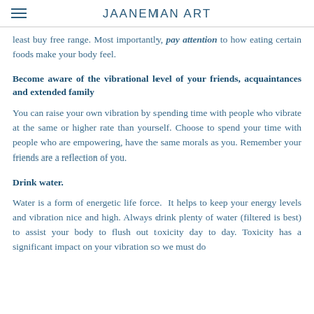JAANEMAN ART
least buy free range. Most importantly, pay attention to how eating certain foods make your body feel.
Become aware of the vibrational level of your friends, acquaintances and extended family
You can raise your own vibration by spending time with people who vibrate at the same or higher rate than yourself. Choose to spend your time with people who are empowering, have the same morals as you. Remember your friends are a reflection of you.
Drink water.
Water is a form of energetic life force.  It helps to keep your energy levels and vibration nice and high. Always drink plenty of water (filtered is best) to assist your body to flush out toxicity day to day. Toxicity has a significant impact on your vibration so we must do